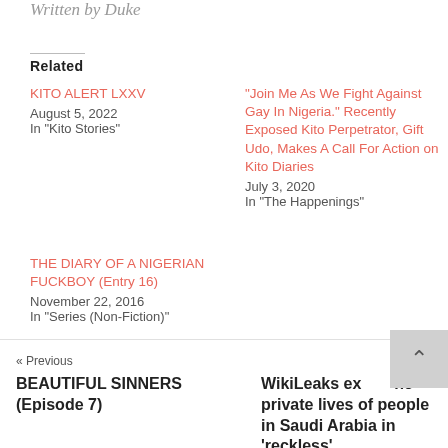Written by Duke
Related
KITO ALERT LXXV
August 5, 2022
In "Kito Stories"
"Join Me As We Fight Against Gay In Nigeria." Recently Exposed Kito Perpetrator, Gift Udo, Makes A Call For Action on Kito Diaries
July 3, 2020
In "The Happenings"
THE DIARY OF A NIGERIAN FUCKBOY (Entry 16)
November 22, 2016
In "Series (Non-Fiction)"
« Previous
BEAUTIFUL SINNERS (Episode 7)
Next »
WikiLeaks ex... he private lives of people in Saudi Arabia in 'reckless'